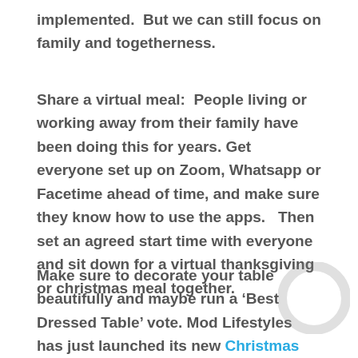implemented.  But we can still focus on family and togetherness.
Share a virtual meal:  People living or working away from their family have been doing this for years. Get everyone set up on Zoom, Whatsapp or Facetime ahead of time, and make sure they know how to use the apps.   Then set an agreed start time with everyone and sit down for a virtual thanksgiving or christmas meal together.
Make sure to decorate your table beautifully and maybe run a ‘Best Dressed Table’ vote. Mod Lifestyles has just launched its new Christmas Collection, which includes eye catching table runners and linens.